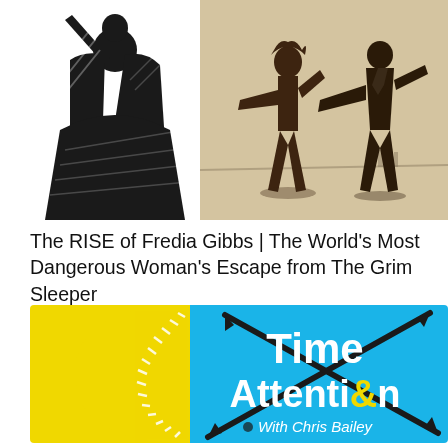[Figure (illustration): Composite image: left side shows a black ink woodcut-style illustration of a woman in a flowing black dress; right side shows a sepia/brown-toned photo of two silhouetted figures in a fighting stance on an open landscape.]
The RISE of Fredia Gibbs | The World's Most Dangerous Woman's Escape from The Grim Sleeper
[Figure (logo): Podcast logo for 'Time & Attention With Chris Bailey'. Yellow left section with clock tick marks along a circular arc; right section is sky blue with bold white text reading 'Time' and 'Attenti&n' (the ampersand styled as part of 'Attention'), and below in smaller white italic text 'With Chris Bailey' with a small brain icon. Two large black diagonal arrows cross behind the text forming an X shape.]